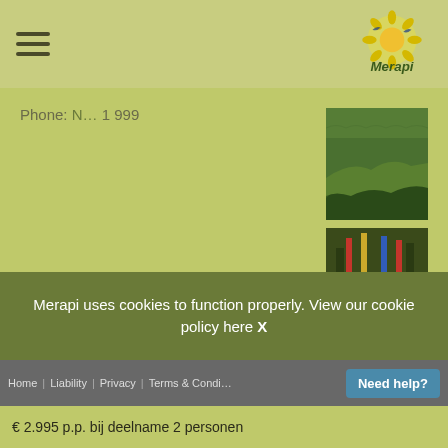Merapi logo and hamburger menu navigation bar
Phone: [number] 1 999
[Figure (photo): Green rice terraces or tropical landscape photo]
[Figure (photo): Traditional Balinese ceremony or performance with colorful costumes]
This roundtrip is a sample how your trip could look like. The target prices are based on middle class hotels. Our Indonesia experts are happy to help you tailormade your trip to your demands.
Richtprijzen
Merapi uses cookies to function properly. View our cookie policy here X
Home | Liability | Privacy | Terms & Condi... | Need help?
€ 2.995 p.p. bij deelname 2 personen